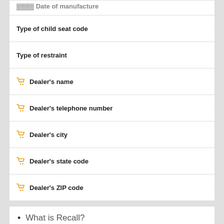Date of Manufacture (truncated/partial)
Type of child seat code
Type of restraint
Dealer's name
Dealer's telephone number
Dealer's city
Dealer's state code
Dealer's ZIP code
What is Recall?
A recall is when a product is removed from the market harmful.
What is Failure?